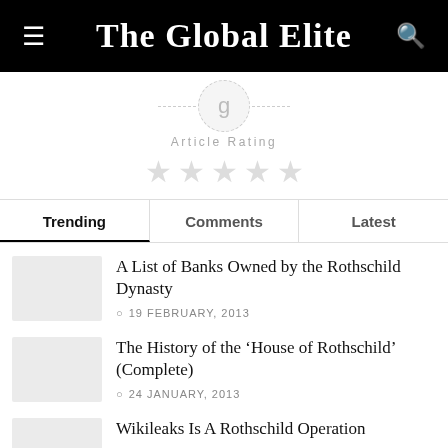The Global Elite
[Figure (infographic): Avatar circle with dashed lines on either side, Article Rating label, and five empty star icons below]
Article Rating
| Trending | Comments | Latest |
| --- | --- | --- |
A List of Banks Owned by the Rothschild Dynasty
19 FEBRUARY, 2013
The History of the ‘House of Rothschild’ (Complete)
24 JANUARY, 2013
Wikileaks Is A Rothschild Operation
22 DECEMBER, 2012